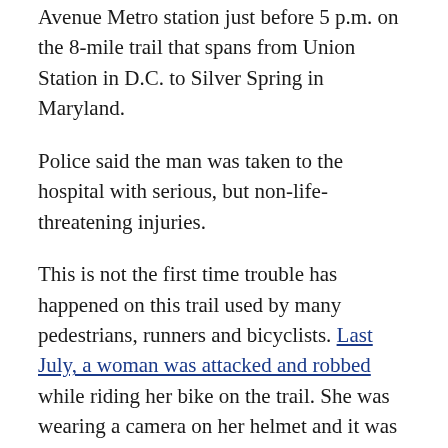Avenue Metro station just before 5 p.m. on the 8-mile trail that spans from Union Station in D.C. to Silver Spring in Maryland.
Police said the man was taken to the hospital with serious, but non-life-threatening injuries.
This is not the first time trouble has happened on this trail used by many pedestrians, runners and bicyclists. Last July, a woman was attacked and robbed while riding her bike on the trail. She was wearing a camera on her helmet and it was able to capture footage of the suspects during the attack. Two teenagers were arrested for the crime.
After that, the neighborhood pushed to make the trail safer. Lights were installed along the trail as well as mile markers to help emergency crews find someone in